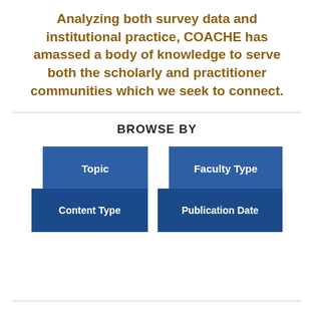Analyzing both survey data and institutional practice, COACHE has amassed a body of knowledge to serve both the scholarly and practitioner communities which we seek to connect.
BROWSE BY
[Figure (infographic): Four blue navigation buttons arranged in a 2x2 staggered grid: Topic (top-left), Faculty Type (top-right), Content Type (bottom-left), Publication Date (bottom-right)]